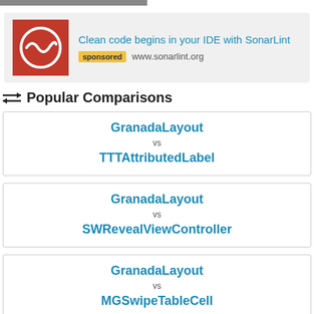[Figure (logo): SonarLint advertisement with red logo and text: Clean code begins in your IDE with SonarLint, sponsored, www.sonarlint.org]
⇄ Popular Comparisons
GranadaLayout vs TTTAttributedLabel
GranadaLayout vs SWRevealViewController
GranadaLayout vs MGSwipeTableCell